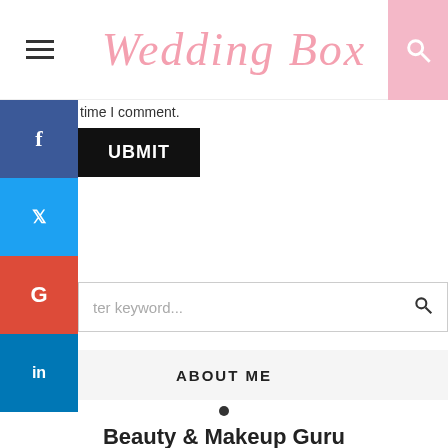Wedding Box
time I comment.
SUBMIT
ter keyword...
ABOUT ME
Beauty & Makeup Guru
Ut enim ad minima veniam, quis nostrum exercitationem ullam corporis suscipit laboriosam, nisi ut aliquid ex.
FOLLOW ME